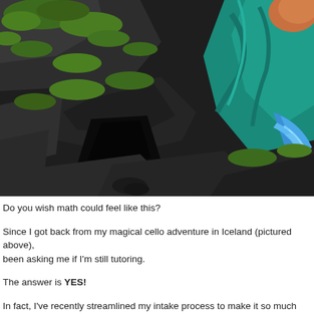[Figure (photo): A person wearing teal/blue clothing sitting or crouching among large mossy rocks. The rocks are dark grey with bright green moss. The person's blue garment shows flowing fabric detail. There is a dark crevice between the rocks. Bright blue swirling fabric or cloth is visible on the right side.]
Do you wish math could feel like this?
Since I got back from my magical cello adventure in Iceland (pictured above), been asking me if I'm still tutoring.
The answer is YES!
In fact, I've recently streamlined my intake process to make it so much easier t with me.